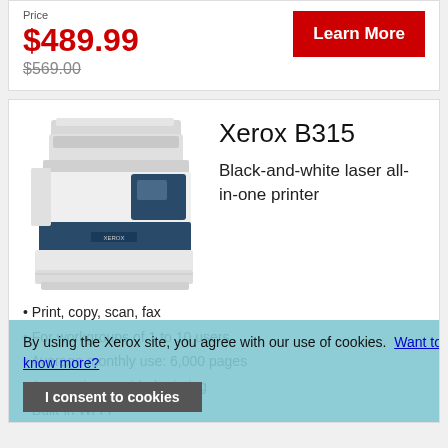Price
$489.99
$569.00
Learn More
Xerox B315
Black-and-white laser all-in-one printer
[Figure (photo): Xerox B315 black-and-white laser all-in-one printer, white and dark blue body with ADF on top and control panel]
• Print, copy, scan, fax
• For workgroups of 1 to 10 users
• Average monthly use: 6,000 pages
• Automatic two-sided printing
• Built-in Wi-Fi
By using the Xerox site, you agree with our use of cookies. Want to know more?
I consent to cookies